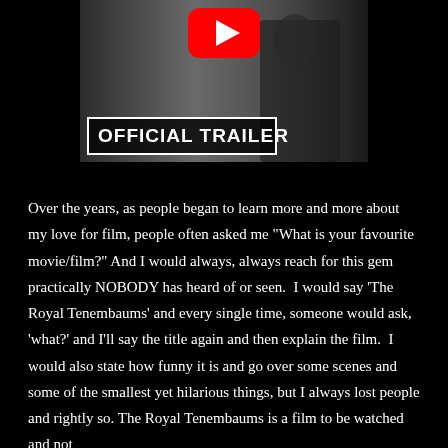[Figure (screenshot): YouTube video thumbnail showing a black and white image with a red YouTube play button icon at the top center, and a white bordered label reading 'OFFICIAL TRAILER' in bold white text at the bottom left.]
Over the years, as people began to learn more and more about my love for film, people often asked me "What is your favourite movie/film?" And I would always, always reach for this gem practically NOBODY has heard of or seen.  I would say 'The Royal Tenembaums' and every single time, someone would ask, 'what?' and I'll say the title again and then explain the film.  I would also state how funny it is and go over some scenes and some of the smallest yet hilarious things, but I always lost people and rightly so. The Royal Tenembaums is a film to be watched and not